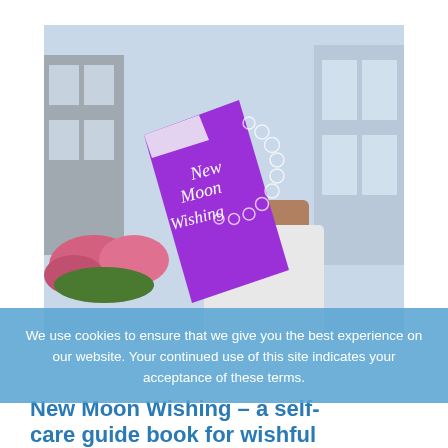[Figure (photo): A person holding a purple book titled 'New Moon Wishing' with a decorative circle of bubbles on the cover, photographed outdoors with blurred urban background and flowers.]
We use cookies to ensure that we give you the best experience on our website. Your continued use of this site indicates your acceptance of these terms.
New Moon Wishing – a self-care guide book for wishful